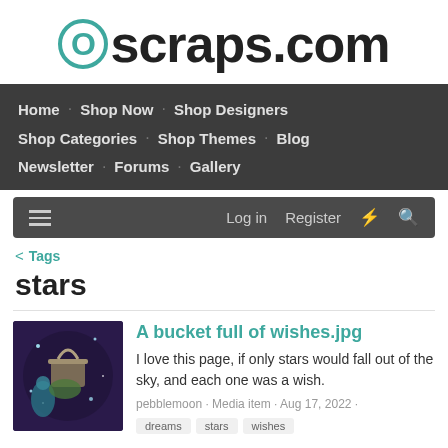[Figure (logo): Oscraps.com logo with teal circular O and black bold text]
Home · Shop Now · Shop Designers · Shop Categories · Shop Themes · Blog · Newsletter · Forums · Gallery
Log in  Register
< Tags
stars
A bucket full of wishes.jpg
I love this page, if only stars would fall out of the sky, and each one was a wish.
pebblemoon · Media item · Aug 17, 2022 ·